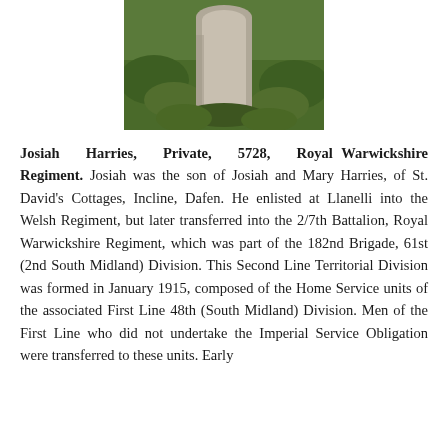[Figure (photo): A gravestone or memorial marker stone surrounded by green moss and vegetation, photographed outdoors.]
Josiah Harries, Private, 5728, Royal Warwickshire Regiment. Josiah was the son of Josiah and Mary Harries, of St. David's Cottages, Incline, Dafen. He enlisted at Llanelli into the Welsh Regiment, but later transferred into the 2/7th Battalion, Royal Warwickshire Regiment, which was part of the 182nd Brigade, 61st (2nd South Midland) Division. This Second Line Territorial Division was formed in January 1915, composed of the Home Service units of the associated First Line 48th (South Midland) Division. Men of the First Line who did not undertake the Imperial Service Obligation were transferred to these units. Early